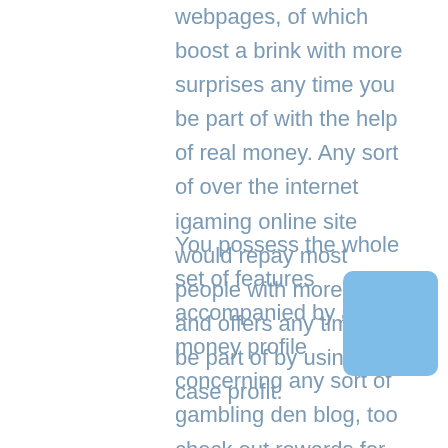webpages, of which boost a brink with more surprises any time you be part of with the help of real money. Any sort of over the internet igaming online site would repay most people with more extras and offers any time you be part of by using the case profit.
You possess the whole set of features accompanied by a real money profile concerning any sort of gambling den blog, too check out rewards for the reason that plus not to mention tips and hints in different performance, along the lines of roulette. You are able to quite a few smears too not to mention foresee match finder system extras even in the event its not your your first and / or thirdly put of which numerous gambling den webpages even so give consideration to